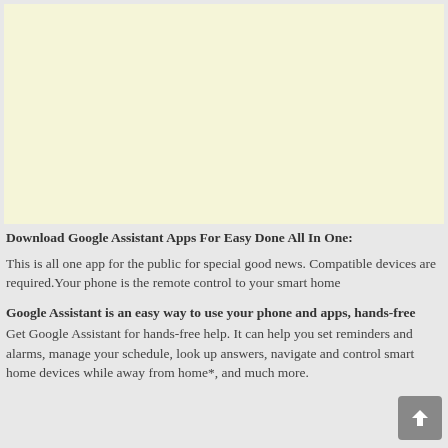[Figure (other): Light yellow/cream colored advertisement placeholder box]
Download Google Assistant Apps For Easy Done All In One:
This is all one app for the public for special good news. Compatible devices are required.Your phone is the remote control to your smart home
Google Assistant is an easy way to use your phone and apps, hands-free
Get Google Assistant for hands-free help. It can help you set reminders and alarms, manage your schedule, look up answers, navigate and control smart home devices while away from home*, and much more.